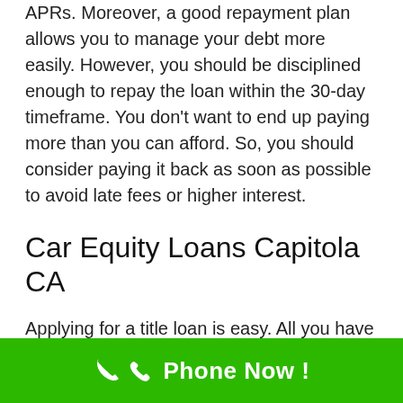APRs. Moreover, a good repayment plan allows you to manage your debt more easily. However, you should be disciplined enough to repay the loan within the 30-day timeframe. You don't want to end up paying more than you can afford. So, you should consider paying it back as soon as possible to avoid late fees or higher interest.
Car Equity Loans Capitola CA
Applying for a title loan is easy. All you have to do is fill out an online form. The company will approve your application on the same day if the car is in good condition. Besides, you will not have to worry
Phone Now !